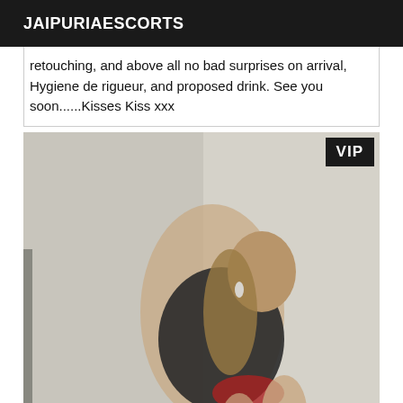JAIPURIAESCORTS
retouching, and above all no bad surprises on arrival, Hygiene de rigueur, and proposed drink. See you soon......Kisses Kiss xxx
[Figure (photo): Woman posing in black and red outfit against a light grey background. A VIP badge appears in the top right corner of the image.]